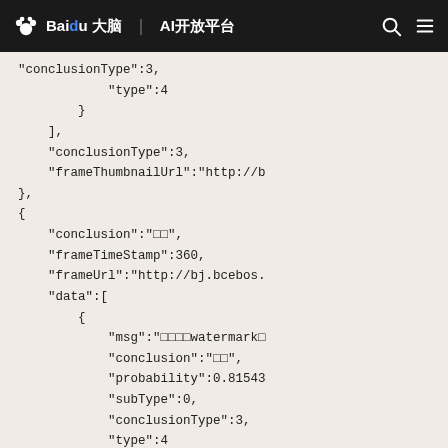Baidu 大脑 | AI开放平台
"conclusionType":3,
"type":4
}
],
"conclusionType":3,
"frameThumbnailUrl":"http://b
},
{
"conclusion":"□□",
"frameTimeStamp":360,
"frameUrl":"http://bj.bcebos.
"data":[
{
"msg":"□□□□watermark□
"conclusion":"□□",
"probability":0.81543
"subType":0,
"conclusionType":3,
"type":4